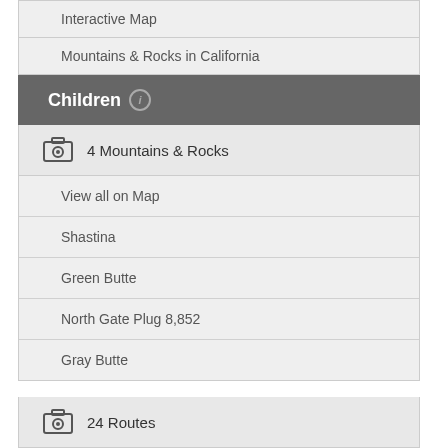Interactive Map
Mountains & Rocks in California
Children ℹ
4 Mountains & Rocks
View all on Map
Shastina
Green Butte
North Gate Plug 8,852
Gray Butte
24 Routes
Avalanche Gulch
Hotlum Glacier
Sargents Ridge